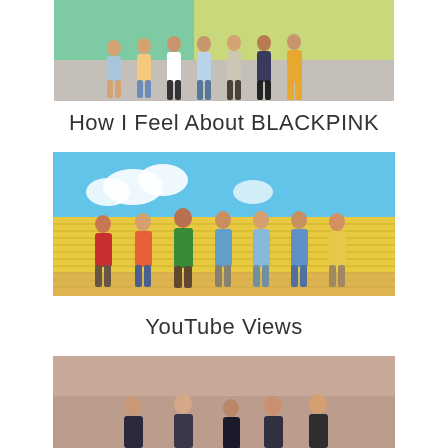[Figure (photo): Group photo of K-pop artists standing outdoors against a colorful mural background, casual summer outfits]
How I Feel About BLACKPINK
[Figure (photo): Group photo of 7 K-pop artists standing against bright yellow corrugated wall background with blue sky and clouds, colorful outfits]
YouTube Views
[Figure (photo): Group photo of K-pop artists in formal/dark clothing against warm brown/rose background]